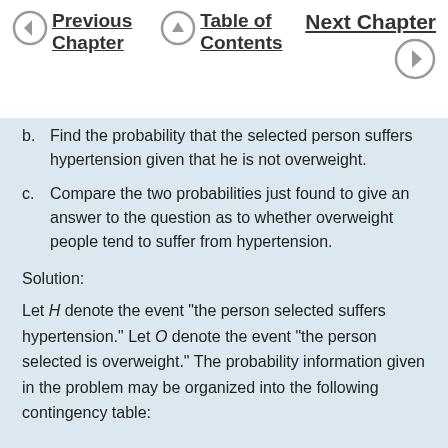Previous Chapter | Table of Contents | Next Chapter
b. Find the probability that the selected person suffers hypertension given that he is not overweight.
c. Compare the two probabilities just found to give an answer to the question as to whether overweight people tend to suffer from hypertension.
Solution:
Let H denote the event “the person selected suffers hypertension.” Let O denote the event “the person selected is overweight.” The probability information given in the problem may be organized into the following contingency table: